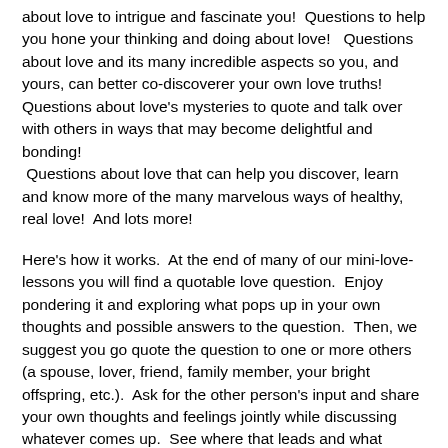about love to intrigue and fascinate you!  Questions to help you hone your thinking and doing about love!   Questions about love and its many incredible aspects so you, and yours, can better co-discoverer your own love truths!  Questions about love's mysteries to quote and talk over with others in ways that may become delightful and bonding!  Questions about love that can help you discover, learn and know more of the many marvelous ways of healthy, real love!  And lots more!
Here's how it works.  At the end of many of our mini-love-lessons you will find a quotable love question.  Enjoy pondering it and exploring what pops up in your own thoughts and possible answers to the question.  Then, we suggest you go quote the question to one or more others (a spouse, lover, friend, family member, your bright offspring, etc.).  Ask for the other person's input and share your own thoughts and feelings jointly while discussing whatever comes up.  See where that leads and what happens next.  Keep it friendly, after all it is about love.  Strive together to make it all enriching, refreshing, clarifying and definitely helpful to your own ways of love relating.